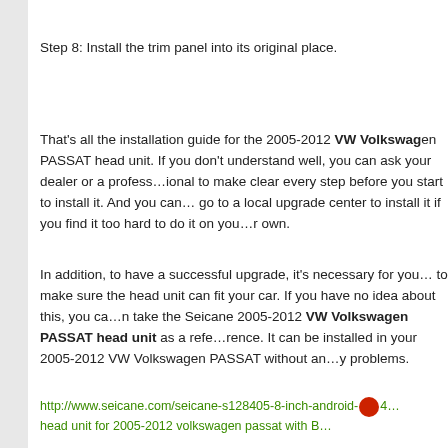Step 8: Install the trim panel into its original place.
That's all the installation guide for the 2005-2012 VW Volkswagen PASSAT head unit. If you don't understand well, you can ask your dealer or a professional to make clear every step before you start to install it. And you can go to a local upgrade center to install it if you find it too hard to do it on your own.
In addition, to have a successful upgrade, it's necessary for you to make sure the head unit can fit your car. If you have no idea about this, you can take the Seicane 2005-2012 VW Volkswagen PASSAT head unit as a reference. It can be installed in your 2005-2012 VW Volkswagen PASSAT without any problems.
http://www.seicane.com/seicane-s128405-8-inch-android-4...